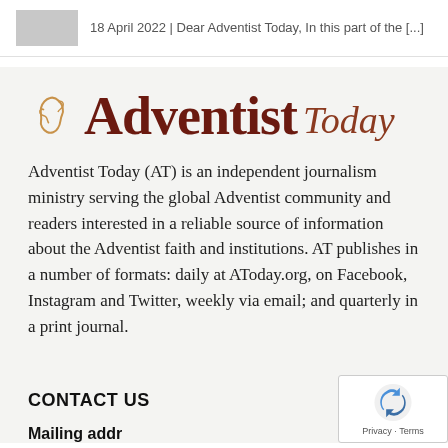18 April 2022  | Dear Adventist Today, In this part of the [...]
[Figure (logo): Adventist Today logo with italic 'Today' and a stylized Africa/hand icon in tan/brown color]
Adventist Today (AT) is an independent journalism ministry serving the global Adventist community and readers interested in a reliable source of information about the Adventist faith and institutions. AT publishes in a number of formats: daily at AToday.org, on Facebook, Instagram and Twitter, weekly via email; and quarterly in a print journal.
CONTACT US
Mailing address